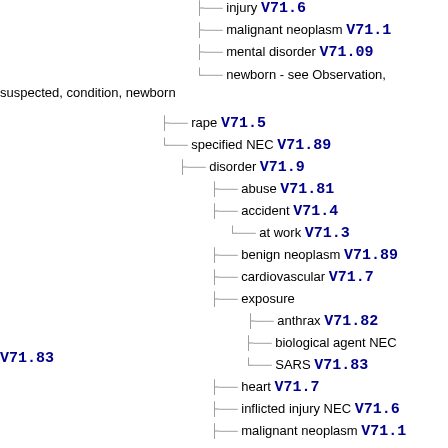injury V71.6
malignant neoplasm V71.1
mental disorder V71.09
newborn - see Observation, suspected, condition, newborn
rape V71.5
specified NEC V71.89
disorder V71.9
abuse V71.81
accident V71.4
at work V71.3
benign neoplasm V71.89
cardiovascular V71.7
exposure
anthrax V71.82
biological agent NEC V71.83
SARS V71.83
heart V71.7
inflicted injury NEC V71.6
malignant neoplasm V71.1
mental NEC V71.09
neglect V71.81
specified condition NEC V71.89